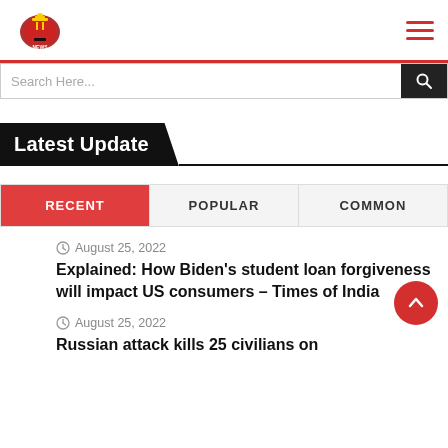[Figure (logo): Website logo with decorative emblem]
[Figure (other): Hamburger menu icon (three red horizontal lines)]
Search Here...
Latest Update
RECENT	POPULAR	COMMON
August 25, 2022
Explained: How Biden's student loan forgiveness will impact US consumers – Times of India
August 25, 2022
Russian attack kills 25 civilians on